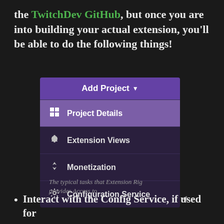the TwitchDev GitHub, but once you are into building your actual extension, you'll be able to do the following things!
[Figure (screenshot): A UI widget showing an 'Add Project' dropdown menu with items: Project Details (highlighted/active), Extension Views, Monetization, Configuration Service. Dark purple/violet theme.]
The typical tasks that Extension Rig provides Access to
Interact with the Config Service, if used for